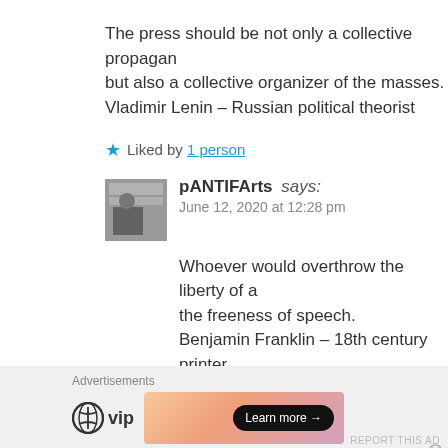The press should be not only a collective propagandist but also a collective organizer of the masses. Vladimir Lenin – Russian political theorist
★ Liked by 1 person
pANTIFArts says: June 12, 2020 at 12:28 pm
Whoever would overthrow the liberty of a nation must begin by subduing the freeness of speech. Benjamin Franklin – 18th century printer
★ Like
Advertisements
[Figure (logo): WordPress VIP logo and advertisement banner with Learn more button]